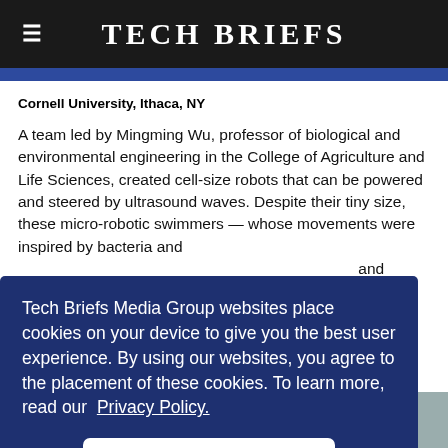Tech Briefs
Cornell University, Ithaca, NY
A team led by Mingming Wu, professor of biological and environmental engineering in the College of Agriculture and Life Sciences, created cell-size robots that can be powered and steered by ultrasound waves. Despite their tiny size, these micro-robotic swimmers — whose movements were inspired by bacteria and [text continues] ...eted
Tech Briefs Media Group websites place cookies on your device to give you the best user experience. By using our websites, you agree to the placement of these cookies. To learn more, read our Privacy Policy.
Accept & Continue